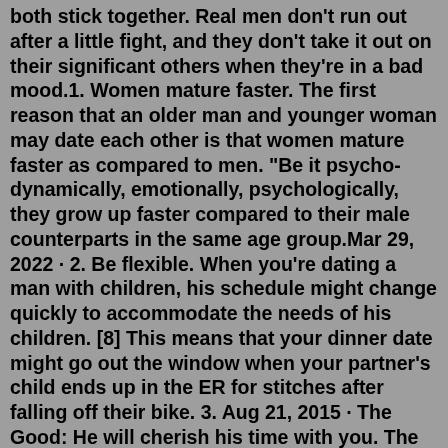both stick together. Real men don't run out after a little fight, and they don't take it out on their significant others when they're in a bad mood.1. Women mature faster. The first reason that an older man and younger woman may date each other is that women mature faster as compared to men. "Be it psycho-dynamically, emotionally, psychologically, they grow up faster compared to their male counterparts in the same age group.Mar 29, 2022 · 2. Be flexible. When you're dating a man with children, his schedule might change quickly to accommodate the needs of his children. [8] This means that your dinner date might go out the window when your partner's child ends up in the ER for stitches after falling off their bike. 3. Aug 21, 2015 · The Good: He will cherish his time with you. The man with kids doesn't get a lot of one-on-one adult time, especially if he is the primary parent. When he does get it, however, he will ... Feb 07, 2015 · Boundaries must be created to prevent unwanted intrusions. Your guy must make it clear to his ex about how much